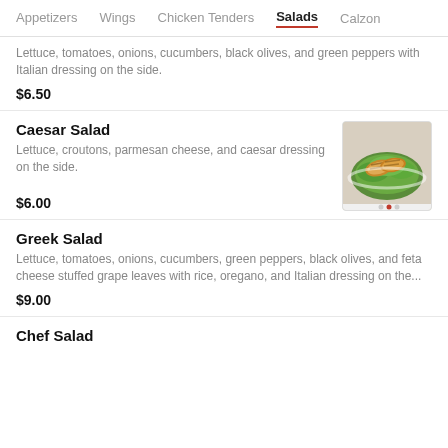Appetizers  Wings  Chicken Tenders  Salads  Calzon
Lettuce, tomatoes, onions, cucumbers, black olives, and green peppers with Italian dressing on the side.
$6.50
Caesar Salad
Lettuce, croutons, parmesan cheese, and caesar dressing on the side.
[Figure (photo): Photo of a Caesar salad with grilled chicken on a white plate]
$6.00
Greek Salad
Lettuce, tomatoes, onions, cucumbers, green peppers, black olives, and feta cheese stuffed grape leaves with rice, oregano, and Italian dressing on the...
$9.00
Chef Salad